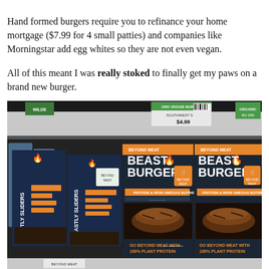Hand formed burgers require you to refinance your home mortgage ($7.99 for 4 small patties) and companies like Morningstar add egg whites so they are not even vegan.
All of this meant I was really stoked to finally get my paws on a brand new burger.
[Figure (photo): Grocery store freezer shelf showing Beyond Meat Beast Burger and Beastly Sliders boxes. Shelf tags visible including one reading 'ORG VEGGIE BURGER $4.99'. Boxes are dark navy/black with orange accents, showing text 'BEAST BURGER', 'BEYOND MEAT', 'PROTEIN & IRON', 'OMEGAS', 'NUTRIENT', 'GO BEYOND MEAT WITH 100% PLANT PROTEIN'.]